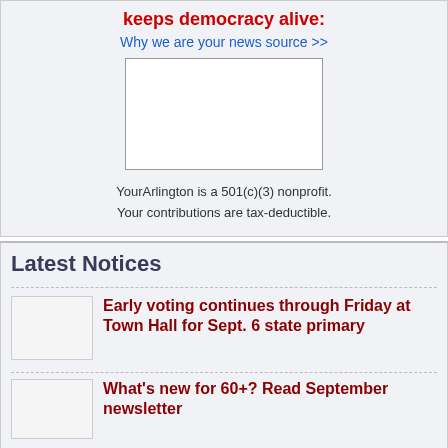keeps democracy alive:
Why we are your news source >>
[Figure (other): Placeholder image box]
YourArlington is a 501(c)(3) nonprofit. Your contributions are tax-deductible.
Latest Notices
Early voting continues through Friday at Town Hall for Sept. 6 state primary
What's new for 60+? Read September newsletter